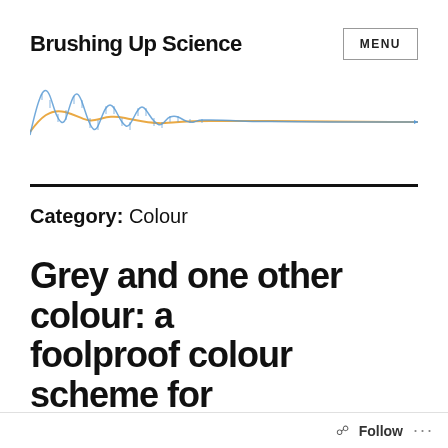Brushing Up Science
[Figure (continuous-plot): Two overlapping waveform lines (blue jagged and orange smoother) that start with larger amplitude on the left and converge to nearly flat near zero on the right, resembling a damped oscillation or signal chart.]
Category: Colour
Grey and one other colour: a foolproof colour scheme for scientists